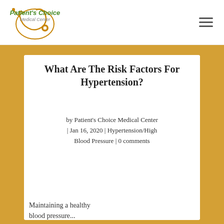[Figure (logo): Patient's Choice Medical Center logo with stethoscope graphic and green text]
What Are The Risk Factors For Hypertension?
by Patient's Choice Medical Center | Jan 16, 2020 | Hypertension/High Blood Pressure | 0 comments
Maintaining a healthy blood pressure...